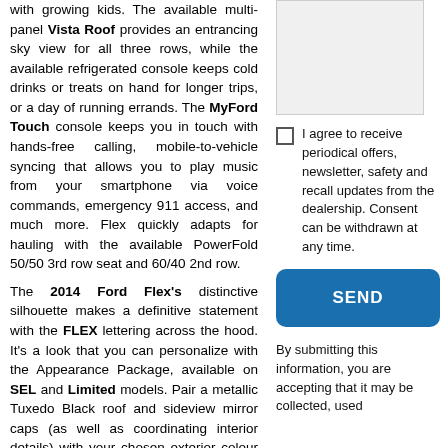with growing kids. The available multi-panel Vista Roof provides an entrancing sky view for all three rows, while the available refrigerated console keeps cold drinks or treats on hand for longer trips, or a day of running errands. The MyFord Touch console keeps you in touch with hands-free calling, mobile-to-vehicle syncing that allows you to play music from your smartphone via voice commands, emergency 911 access, and much more. Flex quickly adapts for hauling with the available PowerFold 50/50 3rd row seat and 60/40 2nd row.
The 2014 Ford Flex's distinctive silhouette makes a definitive statement with the FLEX lettering across the hood. It's a look that you can personalize with the Appearance Package, available on SEL and Limited models. Pair a metallic Tuxedo Black roof and sideview mirror caps (as well as coordinating interior details) with your chosen exterior colour for an expression that's all your own. The Flex also features automatic headlamps, an Easy-Fuel
[Figure (other): Gray textarea/input box in the right column]
I agree to receive periodical offers, newsletter, safety and recall updates from the dealership. Consent can be withdrawn at any time.
SEND
By submitting this information, you are accepting that it may be collected, used